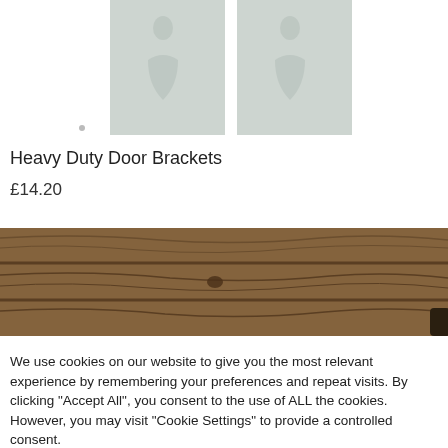[Figure (photo): Two product images of Heavy Duty Door Brackets on a light grey/white background, partially cropped at top]
Heavy Duty Door Brackets
£14.20
[Figure (photo): Wooden planks or logs photo, partially cropped]
We use cookies on our website to give you the most relevant experience by remembering your preferences and repeat visits. By clicking "Accept All", you consent to the use of ALL the cookies. However, you may visit "Cookie Settings" to provide a controlled consent.
Cookie Settings
Accept All